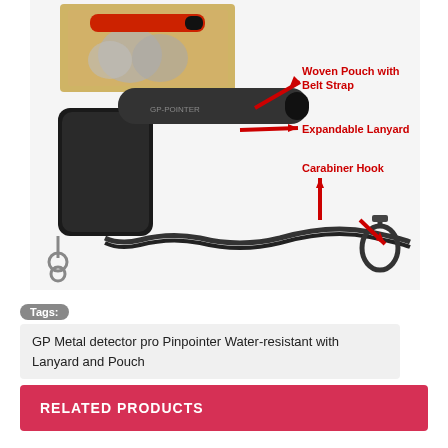[Figure (photo): Product photo of GP Metal Detector Pro Pinpointer with black woven pouch and expandable lanyard with carabiner hook. Red arrows point to labeled parts: Woven Pouch with Belt Strap, Expandable Lanyard, Carabiner Hook. Inset shows product in packaging box.]
Tags:
GP Metal detector pro Pinpointer Water-resistant with Lanyard and Pouch
RELATED PRODUCTS